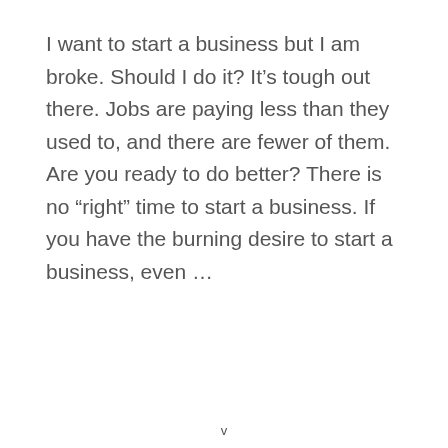I want to start a business but I am broke. Should I do it? It's tough out there. Jobs are paying less than they used to, and there are fewer of them. Are you ready to do better? There is no “right” time to start a business. If you have the burning desire to start a business, even …
v